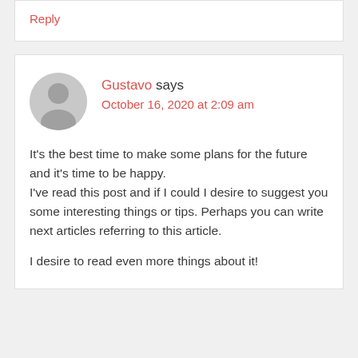Reply
Gustavo says October 16, 2020 at 2:09 am
It's the best time to make some plans for the future and it's time to be happy.
I've read this post and if I could I desire to suggest you some interesting things or tips. Perhaps you can write next articles referring to this article.
I desire to read even more things about it!